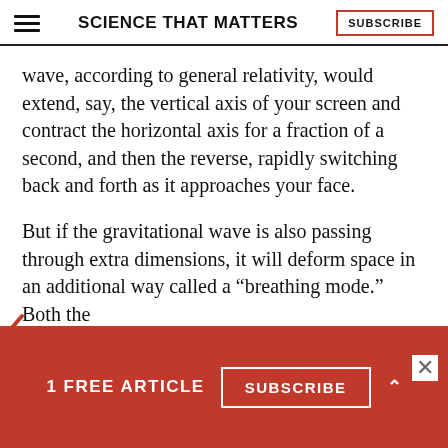SCIENCE THAT MATTERS | SUBSCRIBE
wave, according to general relativity, would extend, say, the vertical axis of your screen and contract the horizontal axis for a fraction of a second, and then the reverse, rapidly switching back and forth as it approaches your face.
But if the gravitational wave is also passing through extra dimensions, it will deform space in an additional way called a “breathing mode.” Both the
1 FREE ARTICLE SUBSCRIBE